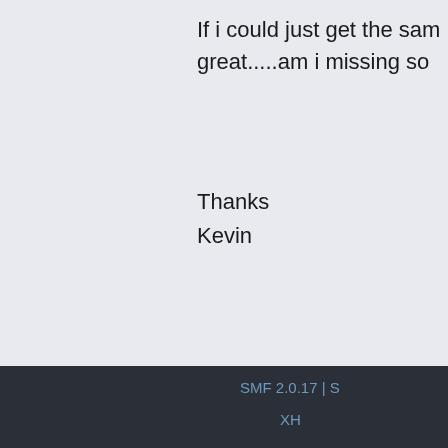If i could just get the sam great.....am i missing so

Thanks
Kevin
Pages: 1 ... 3 4 [5] 6 7   Go Up
Playmaker Forum » PlayMaker Updates & Downloads » Official Actio
SMF 2.0.17 | S
XH